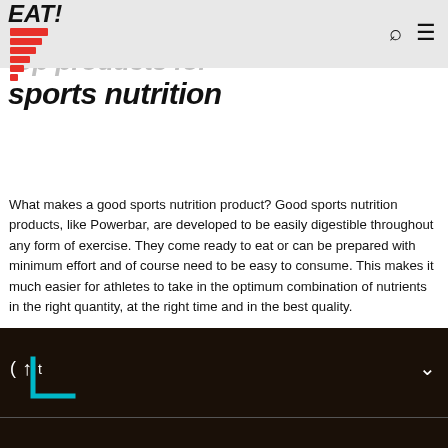Top products for sports nutrition
top products for sports nutrition
What makes a good sports nutrition product? Good sports nutrition products, like Powerbar, are developed to be easily digestible throughout any form of exercise. They come ready to eat or can be prepared with minimum effort and of course need to be easy to consume. This makes it much easier for athletes to take in the optimum combination of nutrients in the right quantity, at the right time and in the best quality.